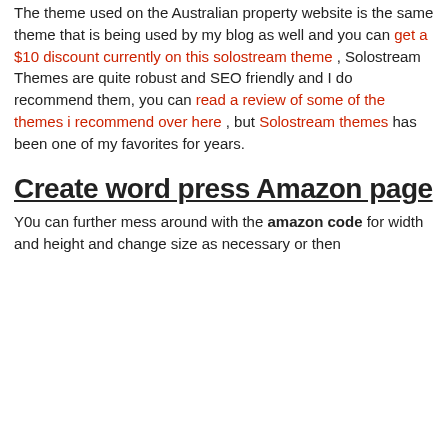The theme used on the Australian property website is the same theme that is being used by my blog as well and you can get a $10 discount currently on this solostream theme , Solostream Themes are quite robust and SEO friendly and I do recommend them, you can read a review of some of the themes i recommend over here , but Solostream themes has been one of my favorites for years.
Create word press Amazon page
Y0u can further mess around with the amazon code for width and height and change size as necessary or then